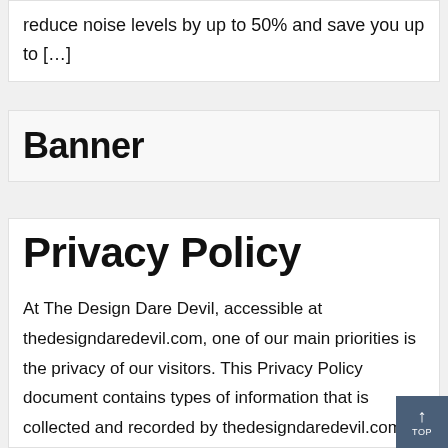reduce noise levels by up to 50% and save you up to […]
Banner
Privacy Policy
At The Design Dare Devil, accessible at thedesigndaredevil.com, one of our main priorities is the privacy of our visitors. This Privacy Policy document contains types of information that is collected and recorded by thedesigndaredevil.com and how we use it. If you have additional questions or require more